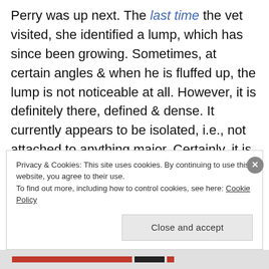Perry was up next.  The last time the vet visited, she identified a lump, which has since been growing.  Sometimes, at certain angles & when he is fluffed up, the lump is not noticeable at all.  However, it is definitely there, defined & dense.  It currently appears to be isolated, i.e., not attached to anything major.  Certainly, it is not imposing on Perry's health or behaviour yet, but at sometime in the future I may need to get a sample from it in order to work out possible treatment.  Perry weighed a very
Privacy & Cookies: This site uses cookies. By continuing to use this website, you agree to their use.
To find out more, including how to control cookies, see here: Cookie Policy